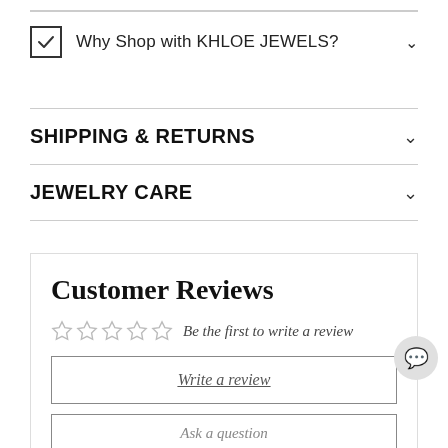Why Shop with KHLOE JEWELS?
SHIPPING & RETURNS
JEWELRY CARE
Customer Reviews
Be the first to write a review
Write a review
Ask a question